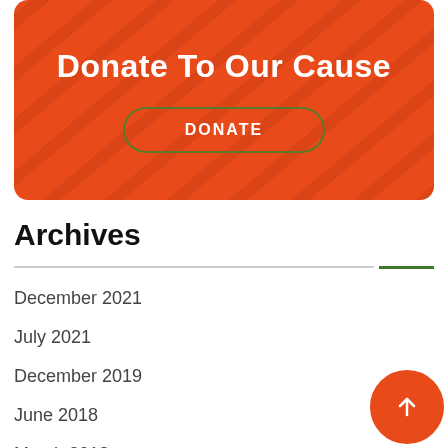[Figure (illustration): Orange/red banner with diagonal stripe overlay, white bold title 'Donate To Our Cause', and an olive-green outlined pill-shaped DONATE button]
Archives
December 2021
July 2021
December 2019
June 2018
March 2018